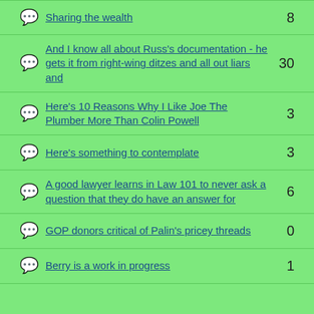Sharing the wealth
And I know all about Russ's documentation - he gets it from right-wing ditzes and all out liars and
Here's 10 Reasons Why I Like Joe The Plumber More Than Colin Powell
Here's something to contemplate
A good lawyer learns in Law 101 to never ask a question that they do have an answer for
GOP donors critical of Palin's pricey threads
Berry is a work in progress